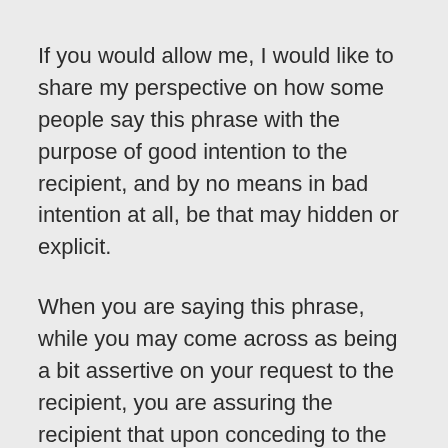If you would allow me, I would like to share my perspective on how some people say this phrase with the purpose of good intention to the recipient, and by no means in bad intention at all, be that may hidden or explicit.
When you are saying this phrase, while you may come across as being a bit assertive on your request to the recipient, you are assuring the recipient that upon conceding to the request you've made, you will promise to the recipient that s/he's help will be appreciated.
So, in short, it is quite a suave phrase to show all the gratitude for your request if the